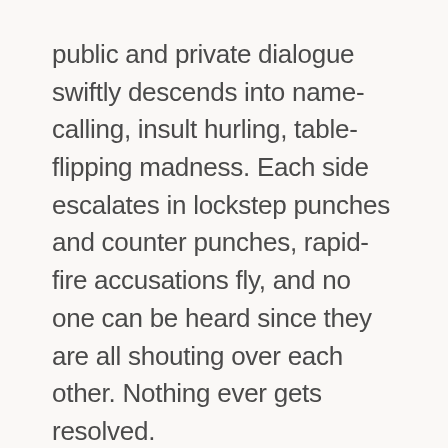public and private dialogue swiftly descends into name-calling, insult hurling, table-flipping madness. Each side escalates in lockstep punches and counter punches, rapid-fire accusations fly, and no one can be heard since they are all shouting over each other. Nothing ever gets resolved.

In recent months, I've often found myself wondering: Where has all the empathy gone?